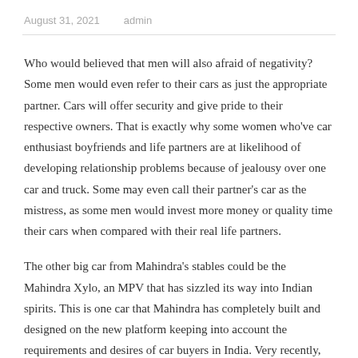August 31, 2021    admin
Who would believed that men will also afraid of negativity? Some men would even refer to their cars as just the appropriate partner. Cars will offer security and give pride to their respective owners. That is exactly why some women who've car enthusiast boyfriends and life partners are at likelihood of developing relationship problems because of jealousy over one car and truck. Some may even call their partner's car as the mistress, as some men would invest more money or quality time their cars when compared with their real life partners.
The other big car from Mahindra's stables could be the Mahindra Xylo, an MPV that has sizzled its way into Indian spirits. This is one car that Mahindra has completely built and designed on the new platform keeping into account the requirements and desires of car buyers in India. Very recently,